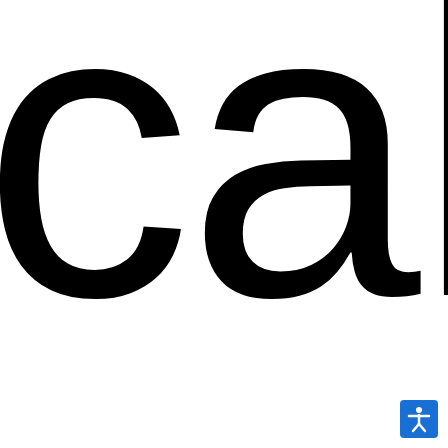[Figure (illustration): Large cropped lowercase letters 'cal' in a heavy sans-serif font, partially cut off at the edges of the page. The letters are black on a white background.]
[Figure (logo): Small blue square button in the bottom-right corner with a white accessibility/wheelchair icon (person with arms outstretched).]